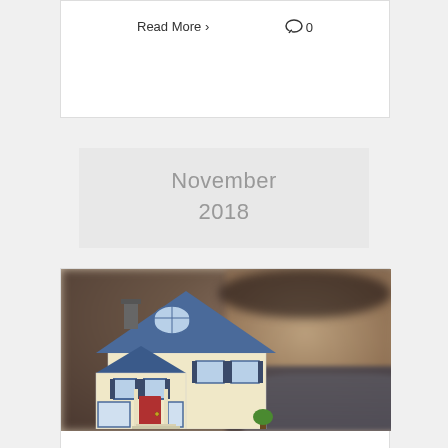Read More >
0
November 2018
[Figure (photo): Person holding a house illustration/cutout in front of them, blurred background]
Buying a Home in Denver